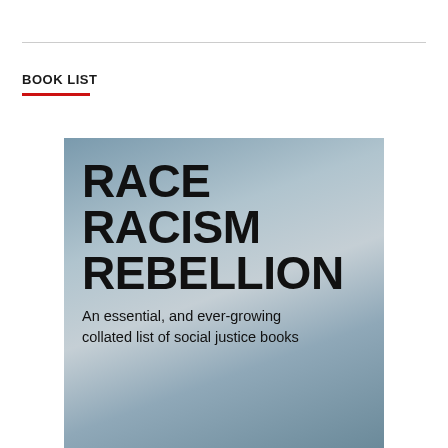BOOK LIST
[Figure (illustration): Book cover image with blue-grey gradient background showing bold black text: 'RACE RACISM REBELLION' with subtitle 'An essential, and ever-growing collated list of social justice books']